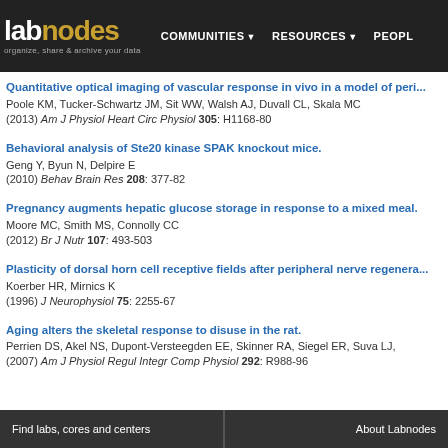labnodes — organize, share & archive your data | COMMUNITIES | RESOURCES | PEOPLE
Quantitative optical imaging of vascular response in vivo in a model of peri...
Poole KM, Tucker-Schwartz JM, Sit WW, Walsh AJ, Duvall CL, Skala MC
(2013) Am J Physiol Heart Circ Physiol 305: H1168-80
Behavioral analysis of Ste20 kinase SPAK knockout mice.
Geng Y, Byun N, Delpire E
(2010) Behav Brain Res 208: 377-82
Pregnancy augments hepatic glucose storage in response to a mixed meal.
Moore MC, Smith MS, Connolly CC
(2012) Br J Nutr 107: 493-503
Plasticity of dorsal horn cell receptive fields after peripheral nerve regenera...
Koerber HR, Mirnics K
(1996) J Neurophysiol 75: 2255-67
Aging alters the skeletal response to disuse in the rat.
Perrien DS, Akel NS, Dupont-Versteegden EE, Skinner RA, Siegel ER, Suva LJ,
(2007) Am J Physiol Regul Integr Comp Physiol 292: R988-96
Find labs, cores and centers | About Labnodes